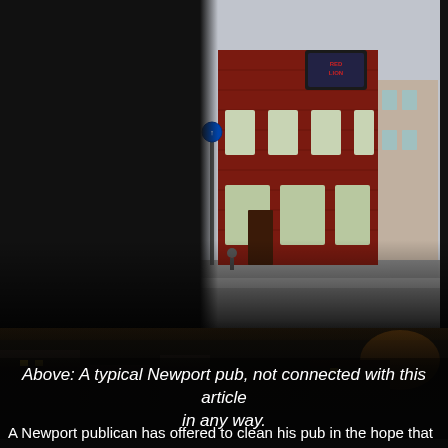[Figure (photo): A typical Newport pub exterior, a red brick building on a street corner with a sign reading 'Red Lion', daytime street scene]
Above: A typical Newport pub, not connected with this article in any way.
A Newport publican has offered to clean his pub in the hope that American tourists might wish to frequent his failing pub. "Since the smoking ban came in I have lost dozens of customers as they can actually now smell the stale beer soaked into the carpet and the leaking toilets. I've been putting off cleaning the pub because as everyone knows I'm a lazy bastard who is drunk most of the time. When I took over this pub it had a great lunchtime trade but nowadays I open the pub around 2pm as that is when I get up from my vomit-encrusted bed. Anyway I've splashed out on some